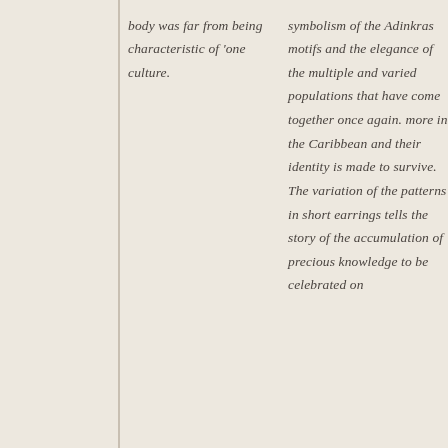body was far from being characteristic of 'one culture.
symbolism of the Adinkras motifs and the elegance of the multiple and varied populations that have come together once again. more in the Caribbean and their identity is made to survive. The variation of the patterns in short earrings tells the story of the accumulation of precious knowledge to be celebrated on